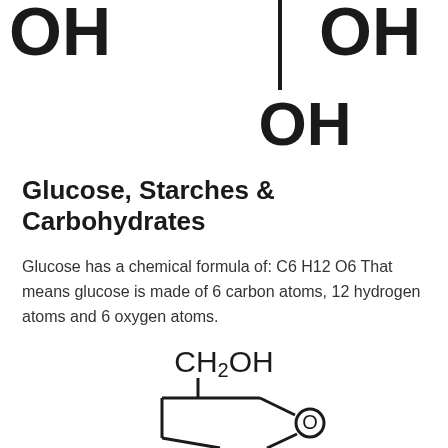[Figure (schematic): Top portion of a chemical structure diagram showing OH groups and bonds, part of a larger molecular structure (glucose). Shows 'OH' text on left, 'OH' text on upper right, a vertical bond line, and 'OH' text in center-right area.]
Glucose, Starches & Carbohydrates
Glucose has a chemical formula of: C6 H12 O6 That means glucose is made of 6 carbon atoms, 12 hydrogen atoms and 6 oxygen atoms.
[Figure (schematic): Bottom portion of a chemical structure diagram showing CH2OH group at top connected to a five-membered ring structure (furanose ring) with an oxygen atom. The ring shows partial structure with bonds.]